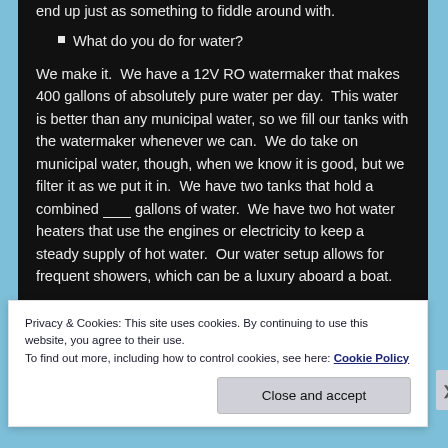end up just as something to fiddle around with.
What do you do for water?
We make it.  We have a 12V RO watermaker that makes 400 gallons of absolutely pure water per day.  This water is better than any municipal water, so we fill our tanks with the watermaker whenever we can.  We do take on municipal water, though, when we know it is good, but we filter it as we put it in.  We have two tanks that hold a combined ___ gallons of water.  We have two hot water heaters that use the engines or electricity to keep a steady supply of hot water.  Our water setup allows for frequent showers, which can be a luxury aboard a boat.
Privacy & Cookies: This site uses cookies. By continuing to use this website, you agree to their use.
To find out more, including how to control cookies, see here: Cookie Policy
Close and accept